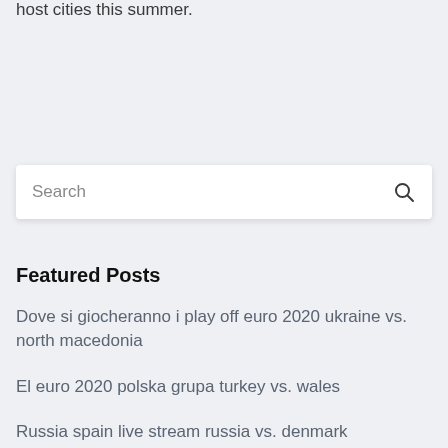host cities this summer.
Search
Featured Posts
Dove si giocheranno i play off euro 2020 ukraine vs. north macedonia
El euro 2020 polska grupa turkey vs. wales
Russia spain live stream russia vs. denmark